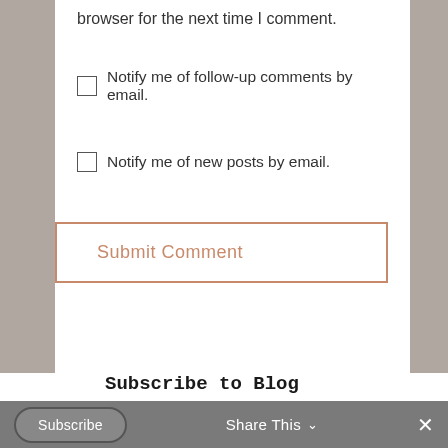browser for the next time I comment.
Notify me of follow-up comments by email.
Notify me of new posts by email.
Submit Comment
Subscribe to Blog
Email Address
Subscribe
Share This
×